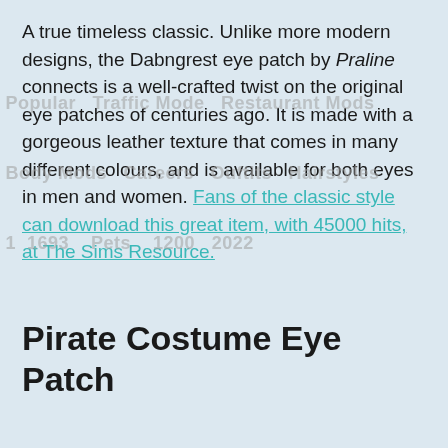A true timeless classic. Unlike more modern designs, the Dabngrest eye patch by Praline connects is a well-crafted twist on the original eye patches of centuries ago. It is made with a gorgeous leather texture that comes in many different colours, and is available for both eyes in men and women. Fans of the classic style can download this great item, with 45000 hits, at The Sims Resource.
Pirate Costume Eye Patch